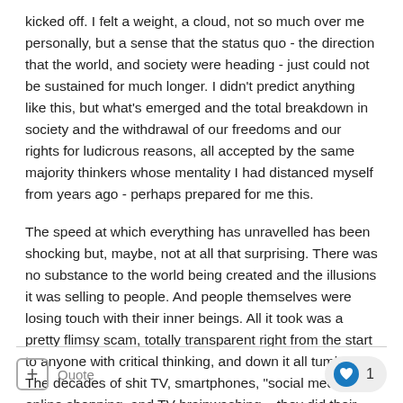kicked off. I felt a weight, a cloud, not so much over me personally, but a sense that the status quo - the direction that the world, and society were heading - just could not be sustained for much longer. I didn't predict anything like this, but what's emerged and the total breakdown in society and the withdrawal of our freedoms and our rights for ludicrous reasons, all accepted by the same majority thinkers whose mentality I had distanced myself from years ago - perhaps prepared for me this.
The speed at which everything has unravelled has been shocking but, maybe, not at all that surprising. There was no substance to the world being created and the illusions it was selling to people. And people themselves were losing touch with their inner beings. All it took was a pretty flimsy scam, totally transparent right from the start to anyone with critical thinking, and down it all tumbled. The decades of shit TV, smartphones, "social media", online shopping, and TV brainwashing....they did their job.
+ Quote  ♥ 1